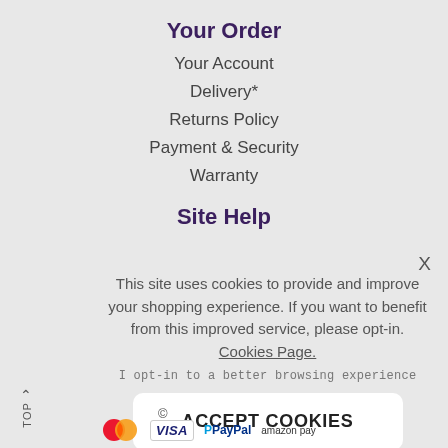Your Order
Your Account
Delivery*
Returns Policy
Payment & Security
Warranty
Site Help
This site uses cookies to provide and improve your shopping experience. If you want to benefit from this improved service, please opt-in. Cookies Page.
I opt-in to a better browsing experience
ACCEPT COOKIES
TOP
©